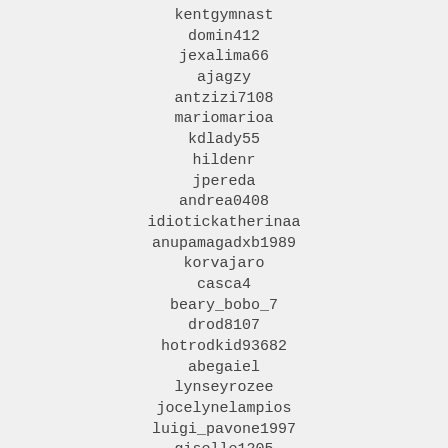kentgymnast
domin412
jexalima66
ajagzy
antzizi7108
mariomarioa
kdlady55
hildenr
jpereda
andrea0408
idiotickatherinaa
anupamagadxb1989
korvajaro
casca4
beary_bobo_7
drod8107
hotrodkid93682
abegaiel
lynseyrozee
jocelynelampios
luigi_pavone1997
giselle1205
denisborisov7575
lilimar22001